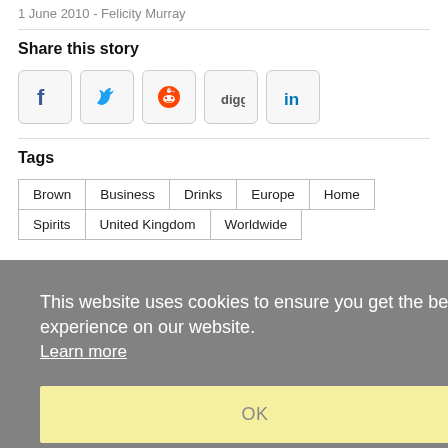1 June 2010 - Felicity Murray
Share this story
[Figure (infographic): Social sharing buttons: Facebook, Twitter, Reddit, Digg, LinkedIn]
Tags
Brown
Business
Drinks
Europe
Home
Spirits
United Kingdom
Worldwide
This website uses cookies to ensure you get the best experience on our website. Learn more
OK